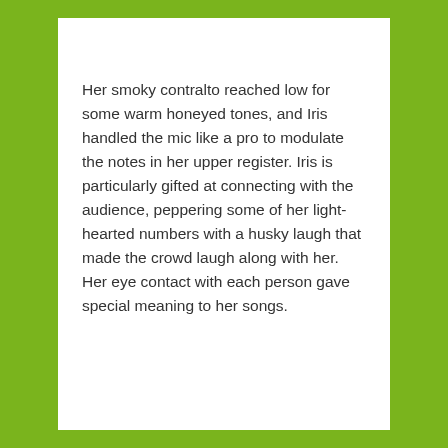Her smoky contralto reached low for some warm honeyed tones, and Iris handled the mic like a pro to modulate the notes in her upper register. Iris is particularly gifted at connecting with the audience, peppering some of her light-hearted numbers with a husky laugh that made the crowd laugh along with her. Her eye contact with each person gave special meaning to her songs.